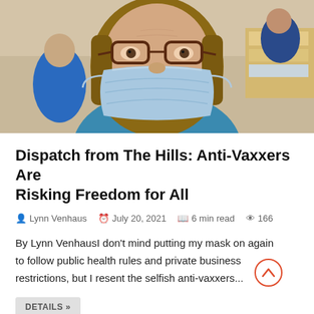[Figure (photo): Woman wearing glasses and a blue surgical face mask, taking a close-up selfie in what appears to be an indoor community space. Other people visible in the background.]
Dispatch from The Hills: Anti-Vaxxers Are Risking Freedom for All
Lynn Venhaus   July 20, 2021   6 min read   166
By Lynn VenhausI don't mind putting my mask on again to follow public health rules and private business restrictions, but I resent the selfish anti-vaxxers...
DETAILS »